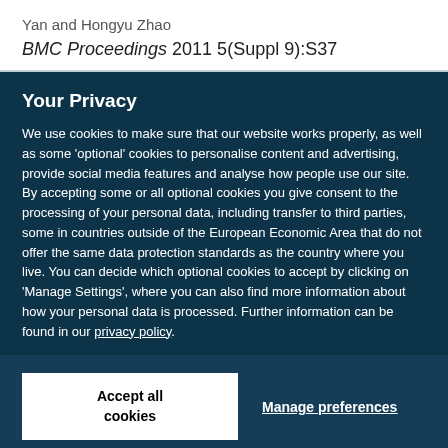Yan and Hongyu Zhao
BMC Proceedings 2011 5(Suppl 9):S37
Your Privacy
We use cookies to make sure that our website works properly, as well as some 'optional' cookies to personalise content and advertising, provide social media features and analyse how people use our site. By accepting some or all optional cookies you give consent to the processing of your personal data, including transfer to third parties, some in countries outside of the European Economic Area that do not offer the same data protection standards as the country where you live. You can decide which optional cookies to accept by clicking on 'Manage Settings', where you can also find more information about how your personal data is processed. Further information can be found in our privacy policy.
Accept all cookies
Manage preferences